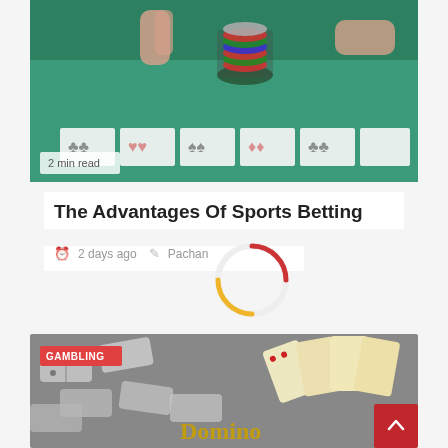[Figure (photo): Casino table with poker chips and playing cards on green felt, hands dealing cards. Badge: '2 min read']
The Advantages Of Sports Betting
2 days ago   Pachan
[Figure (other): Loading spinner (animated circle) overlaying the article section]
[Figure (photo): Domino tiles background in grey tones with decorative domino illustration and text 'Domino...' along with a red scroll-to-top button. Badge: 'GAMBLING']